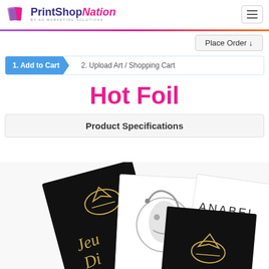[Figure (logo): PrintShopNation logo with pink and purple book/flag icon and text 'PrintShopNation by AG Marketing Solutions']
Place Order ↓
1. Add to Cart  2. Upload Art / Shopping Cart
Hot Foil
Product Specifications
[Figure (photo): Hot foil sample business cards showing gold foil and silver foil designs including jewelry brand cards with diamond ring icon and face artwork and ANABEL text]